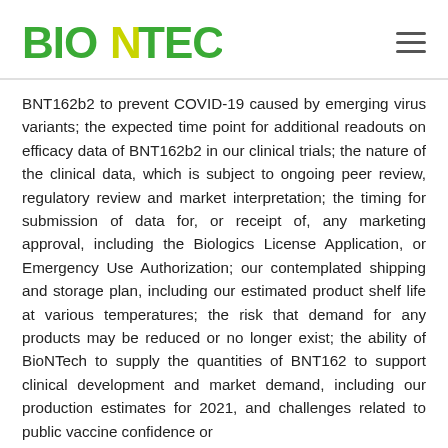BioNTech
BNT162b2 to prevent COVID-19 caused by emerging virus variants; the expected time point for additional readouts on efficacy data of BNT162b2 in our clinical trials; the nature of the clinical data, which is subject to ongoing peer review, regulatory review and market interpretation; the timing for submission of data for, or receipt of, any marketing approval, including the Biologics License Application, or Emergency Use Authorization; our contemplated shipping and storage plan, including our estimated product shelf life at various temperatures; the risk that demand for any products may be reduced or no longer exist; the ability of BioNTech to supply the quantities of BNT162 to support clinical development and market demand, including our production estimates for 2021, and challenges related to public vaccine confidence or